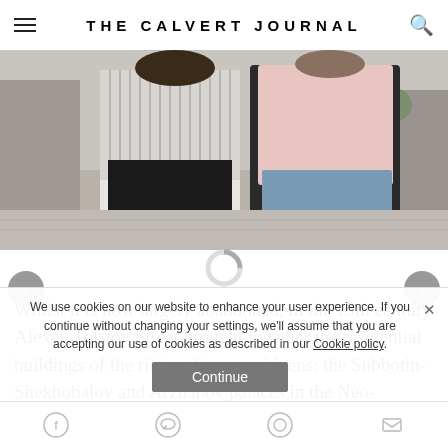THE CALVERT JOURNAL
[Figure (photo): Two women walking on a city sidewalk; one in a striped top and black skirt, one in a pink jacket and jeans]
Whilst it is now largely abandoned, in the 19th century Alexey Tolstoy Street brought together the residential buildings of the richest Samara citizens: the Subbotin-Shekhobalov and Arzhanov palaces in the Neo-Renaissance style; the dilapidated, decadent Neo-Gothic Subbotin-Marmosen ma…
We use cookies on our website to enhance your user experience. If you continue without changing your settings, we'll assume that you are accepting our use of cookies as described in our Cookie policy.